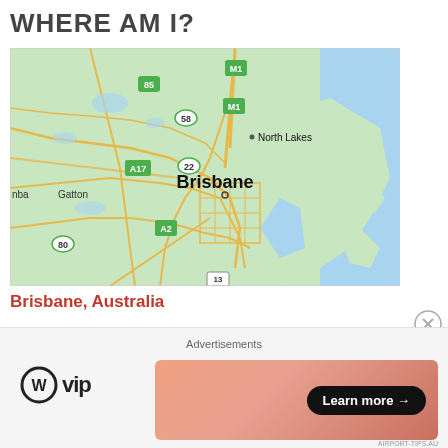WHERE AM I?
[Figure (map): A Google Maps view centered on Brisbane, Australia, showing North Lakes to the north, Gatton to the west, road networks including M1, A17, A2, highways 85, 58, 22, 80, and Moreton Bay to the east.]
Brisbane, Australia
Advertisements
[Figure (logo): WordPress VIP logo: WordPress W circle icon followed by 'vip' text in bold]
[Figure (other): Advertisement banner with gradient orange/pink background and 'Learn more →' button]